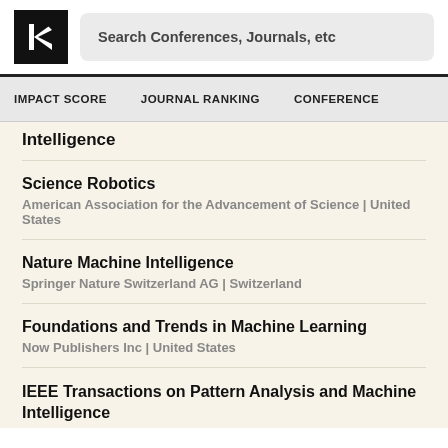Search Conferences, Journals, etc
IMPACT SCORE  JOURNAL RANKING  CONFERENCE
Intelligence
Science Robotics
American Association for the Advancement of Science | United States
Nature Machine Intelligence
Springer Nature Switzerland AG | Switzerland
Foundations and Trends in Machine Learning
Now Publishers Inc | United States
IEEE Transactions on Pattern Analysis and Machine Intelligence